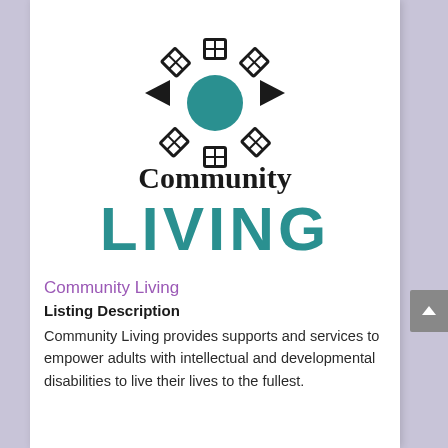[Figure (logo): Community Living logo: a circular snowflake-like icon with house/grid shapes radiating from a teal central circle, in black and teal. Below the icon the text 'Community' in black serif and 'LIVING' in large teal sans-serif bold letters.]
Community Living
Listing Description
Community Living provides supports and services to empower adults with intellectual and developmental disabilities to live their lives to the fullest.